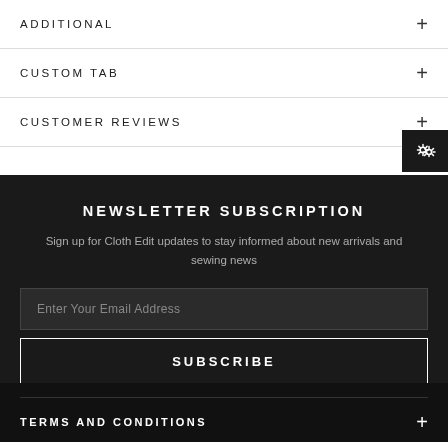ADDITIONAL
CUSTOM TAB
CUSTOMER REVIEWS
NEWSLETTER SUBSCRIPTION
Sign up for Cloth Edit updates to stay informed about new arrivals and sewing news
Enter Your Email Address
SUBSCRIBE
TERMS AND CONDITIONS